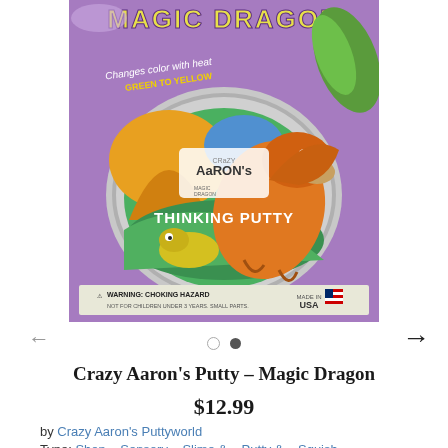[Figure (photo): Product photo of Crazy Aaron's Thinking Putty - Magic Dragon, showing a purple packaging with a circular tin. The tin features a dragon illustration and the Crazy Aaron's logo. Text on packaging reads 'Magic Dragon', 'Changes color with heat green to yellow', 'Crazy Aarons Thinking Putty', 'WARNING: CHOKING HAZARD', 'Made in USA'.]
Crazy Aaron's Putty – Magic Dragon
$12.99
by Crazy Aaron's Puttyworld
Type: Shop - Sensory - Slime & - Putty & - Squish